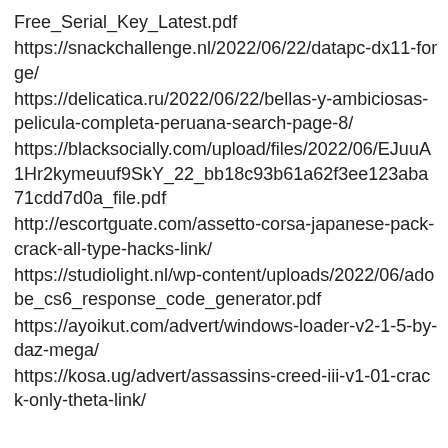Free_Serial_Key_Latest.pdf
https://snackchallenge.nl/2022/06/22/datapc-dx11-forge/
https://delicatica.ru/2022/06/22/bellas-y-ambiciosas-pelicula-completa-peruana-search-page-8/
https://blacksocially.com/upload/files/2022/06/EJuuA1Hr2kymeuuf9SkY_22_bb18c93b61a62f3ee123aba71cdd7d0a_file.pdf
http://escortguate.com/assetto-corsa-japanese-pack-crack-all-type-hacks-link/
https://studiolight.nl/wp-content/uploads/2022/06/adobe_cs6_response_code_generator.pdf
https://ayoikut.com/advert/windows-loader-v2-1-5-by-daz-mega/
https://kosa.ug/advert/assassins-creed-iii-v1-01-crack-only-theta-link/